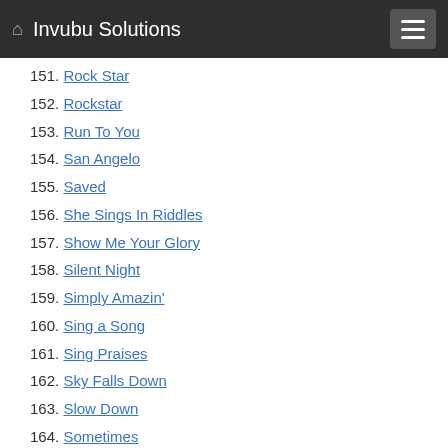Invubu Solutions
151. Rock Star
152. Rockstar
153. Run To You
154. San Angelo
155. Saved
156. She Sings In Riddles
157. Show Me Your Glory
158. Silent Night
159. Simply Amazin'
160. Sing a Song
161. Sing Praises
162. Sky Falls Down
163. Slow Down
164. Sometimes
165. Soul On Fire
166. Sound of Your Voice
167. Spirit
168. Still Listening